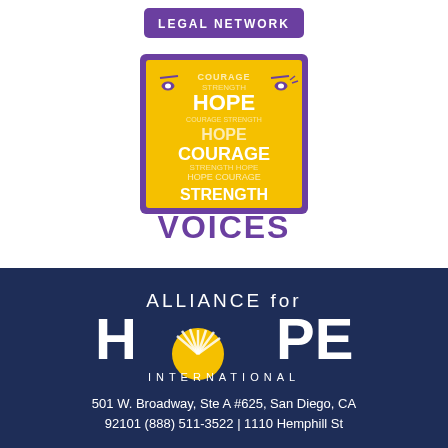[Figure (logo): Purple rounded rectangle badge with white text 'LEGAL NETWORK']
[Figure (logo): VOICES logo: yellow square with two purple profile faces and overlapping words HOPE, COURAGE, STRENGTH in purple/white, with 'VOICES' in large purple text below]
[Figure (logo): Alliance for HOPE International logo on dark navy background: white text 'ALLIANCE for' above large white 'HOPE' with gold/yellow sun-burst O, then 'INTERNATIONAL' in spaced white letters]
501 W. Broadway, Ste A #625, San Diego, CA
92101 (888) 511-3522 | 1110 Hemphill St